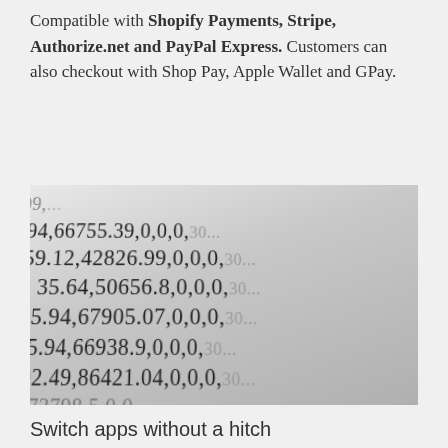Compatible with Shopify Payments, Stripe, Authorize.net and PayPal Express. Customers can also checkout with Shop Pay, Apple Wallet and GPay.
[Figure (photo): Close-up photograph of rows of financial/numerical data printed on paper, showing columns of numbers such as 66755.39, 42826.99, 50656.8, 67905.07, 66938.9, 86421.04, 73798.5 with comma-separated values including zeros and decimals, shot at a shallow depth of field with the text at an angle.]
Switch apps without a hitch